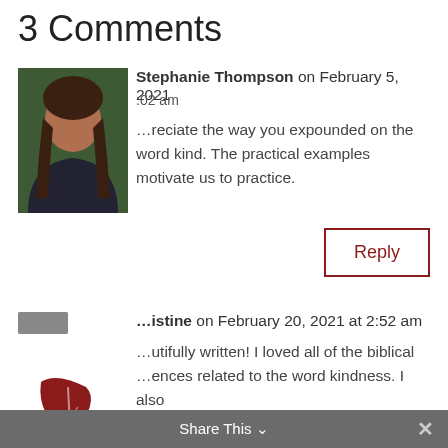3 Comments
Stephanie Thompson on February 5, 2021
:02 am
…reciate the way you expounded on the word kind. The practical examples motivate us to practice.
Reply
…istine on February 20, 2021 at 2:52 am
…utifully written! I loved all of the biblical …ences related to the word kindness. I also liked your list of ways we can show kindness to the world around us. Before even reading this, I had already done a few acts of kindness on your list. Thank you and keep writing!
Share This ×